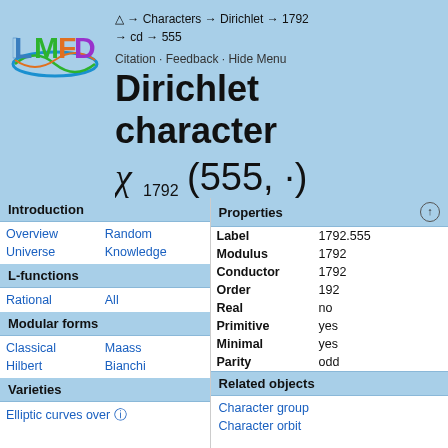[Figure (logo): LMFDB logo with colorful letters and wave decoration]
△ → Characters → Dirichlet → 1792 → cd → 555
Citation · Feedback · Hide Menu
Dirichlet character
Introduction
Overview
Random
Universe
Knowledge
L-functions
Rational
All
Modular forms
Classical
Maass
Hilbert
Bianchi
Varieties
Elliptic curves over
| Property | Value |
| --- | --- |
| Label | 1792.555 |
| Modulus | 1792 |
| Conductor | 1792 |
| Order | 192 |
| Real | no |
| Primitive | yes |
| Minimal | yes |
| Parity | odd |
Related objects
Character group
Character orbit